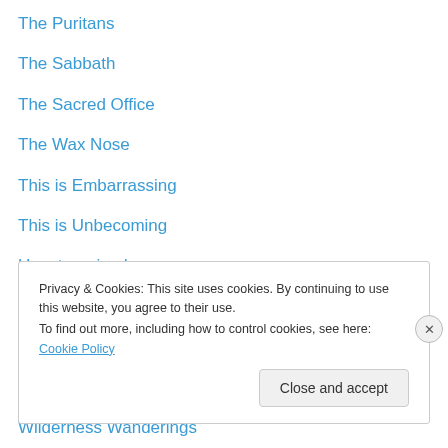The Puritans
The Sabbath
The Sacred Office
The Wax Nose
This is Embarrassing
This is Unbecoming
Uncategorized
W-w
Wendell Berry
Westminster
Wilderness Wanderings
Worldview
Privacy & Cookies: This site uses cookies. By continuing to use this website, you agree to their use. To find out more, including how to control cookies, see here: Cookie Policy
Close and accept